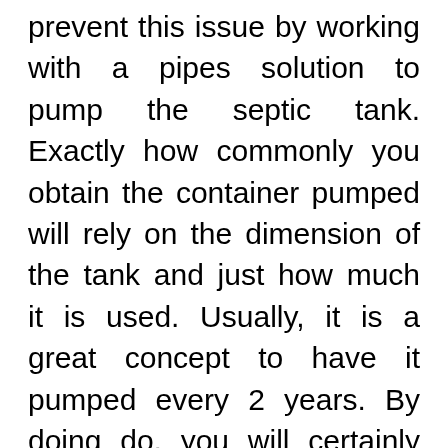prevent this issue by working with a pipes solution to pump the septic tank. Exactly how commonly you obtain the container pumped will rely on the dimension of the tank and just how much it is used. Usually, it is a great concept to have it pumped every 2 years. By doing do, you will certainly prevent clog in the sewer line, A plumber has the tools to completely pump out the buildup sludge at the bottom of the storage tank.
Plumbing Inspection: It is a good